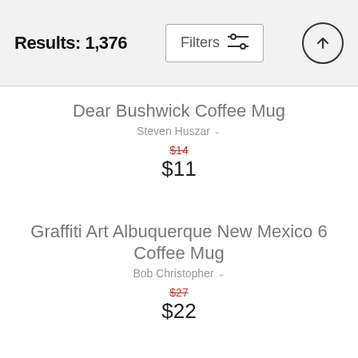Results: 1,376
Dear Bushwick Coffee Mug
Steven Huszar
$14 (original price, strikethrough) $11 (sale price)
Graffiti Art Albuquerque New Mexico 6 Coffee Mug
Bob Christopher
$27 (original price, strikethrough) $22 (sale price)